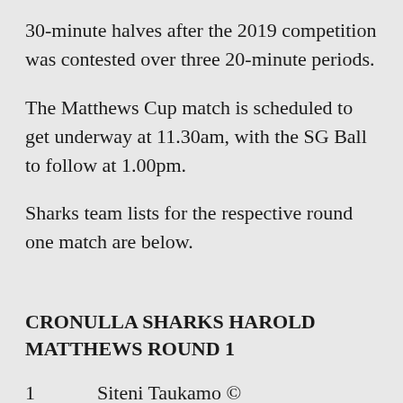30-minute halves after the 2019 competition was contested over three 20-minute periods.
The Matthews Cup match is scheduled to get underway at 11.30am, with the SG Ball to follow at 1.00pm.
Sharks team lists for the respective round one match are below.
CRONULLA SHARKS HAROLD MATTHEWS ROUND 1
1	Siteni Taukamo ©